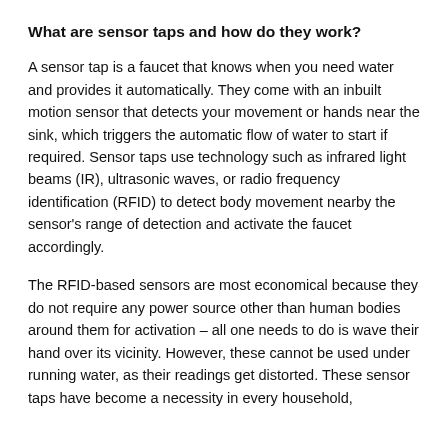What are sensor taps and how do they work?
A sensor tap is a faucet that knows when you need water and provides it automatically. They come with an inbuilt motion sensor that detects your movement or hands near the sink, which triggers the automatic flow of water to start if required. Sensor taps use technology such as infrared light beams (IR), ultrasonic waves, or radio frequency identification (RFID) to detect body movement nearby the sensor's range of detection and activate the faucet accordingly.
The RFID-based sensors are most economical because they do not require any power source other than human bodies around them for activation – all one needs to do is wave their hand over its vicinity. However, these cannot be used under running water, as their readings get distorted. These sensor taps have become a necessity in every household,